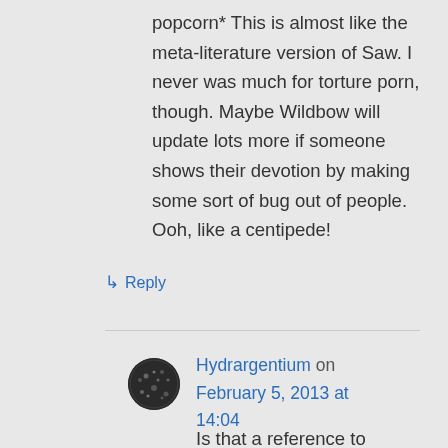popcorn* This is almost like the meta-literature version of Saw. I never was much for torture porn, though. Maybe Wildbow will update lots more if someone shows their devotion by making some sort of bug out of people. Ooh, like a centipede!
↳ Reply
Hydrargentium on February 5, 2013 at 14:04
Is that a reference to